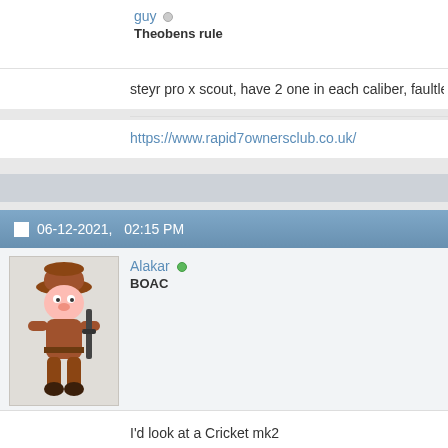guy
Theobens rule
steyr pro x scout, have 2 one in each caliber, faultless and so bloo
https://www.rapid7ownersclub.co.uk/
06-12-2021,   02:15 PM
Alakar
BOAC
[Figure (illustration): Cartoon character resembling Elmer Fudd holding a rifle, wearing brown outfit and hat]
I'd look at a Cricket mk2
www.airgunshooter.co.uk